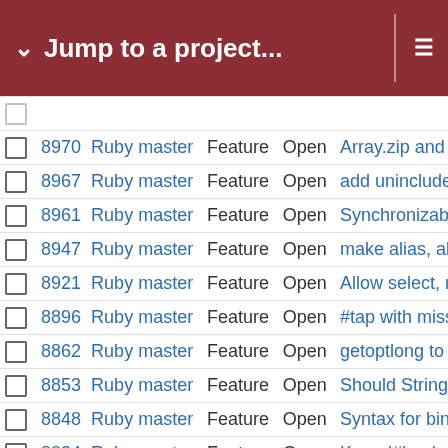Jump to a project...
|  | # | Project | Type | Status | Subject |
| --- | --- | --- | --- | --- | --- |
|  | 8970 | Ruby master | Feature | Open | Array.zip and A |
|  | 8967 | Ruby master | Feature | Open | add uninclude a |
|  | 8961 | Ruby master | Feature | Open | Synchronizable |
|  | 8947 | Ruby master | Feature | Open | make alias, alia |
|  | 8921 | Ruby master | Feature | Open | Allow select, re |
|  | 8896 | Ruby master | Feature | Open | #tap with missi |
|  | 8862 | Ruby master | Feature | Open | getoptlong to a |
|  | 8853 | Ruby master | Feature | Open | Should String#s |
|  | 8848 | Ruby master | Feature | Open | Syntax for bina |
|  | 8834 | Ruby master | Feature | Open | Kernel#load_re |
|  | 8827 | Ruby master | Feature | Open | A method that f |
|  | 8807 | Ruby master | Feature | Open | Custom literals |
|  | 8786 | Ruby master | Feature | Open | Process.clock_ |
|  | 8772 | Ruby master | Feature | Open | Hash alias #| m |
|  | 8751 | Ruby master | Feature | Open | Add offsets to r |
|  | 8714 | Ruby master | Feature | Open | Non-interpolate |
|  | 8688 | Ruby master | Feature | Open | #sprintf should |
|  | 8681 | Ruby master | Feature | Open | Net::HTTP sho |
|  | 8640 | Ruby master | Feature | Open | Add Time#elap |